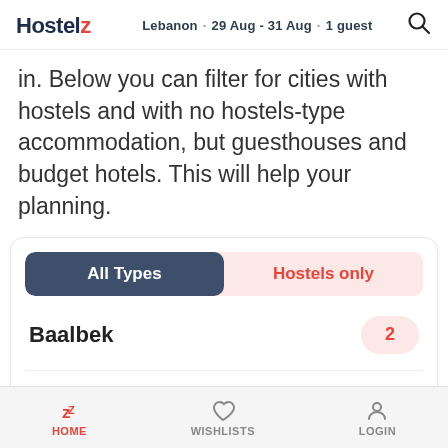Hostelz · Lebanon · 29 Aug - 31 Aug · 1 guest
in. Below you can filter for cities with hostels and with no hostels-type accommodation, but guesthouses and budget hotels. This will help your planning.
| City | Count |
| --- | --- |
| Baalbek | 2 |
| Batroun | 1 |
| Bcharre | 1 |
HOME   WISHLISTS   LOGIN